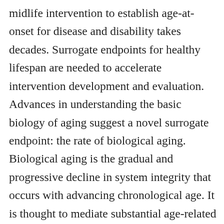midlife intervention to establish age-at-onset for disease and disability takes decades. Surrogate endpoints for healthy lifespan are needed to accelerate intervention development and evaluation. Advances in understanding the basic biology of aging suggest a novel surrogate endpoint: the rate of biological aging. Biological aging is the gradual and progressive decline in system integrity that occurs with advancing chronological age. It is thought to mediate substantial age-related disease and disability. A growing array of measurement technologies aim to quantify biological aging using blood chemistry and genomic data. This talk will review data from analysis of US, UK, and New Zealand cohorts to test (1) how proposed quantifications of biological aging are related to other